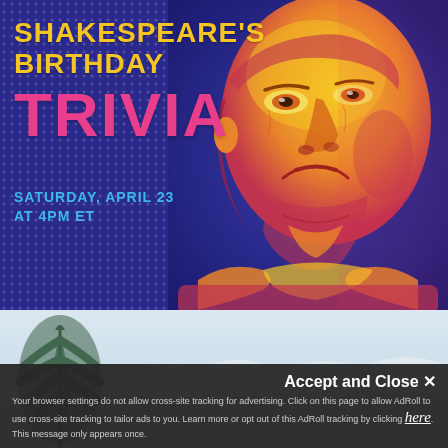[Figure (illustration): Promotional banner for Shakespeare's Birthday Trivia event, featuring a stylized pop-art portrait of Shakespeare in orange/pink tones on a dark blue dotted background, with bold text.]
SHAKESPEARE'S BIRTHDAY TRIVIA
SATURDAY, APRIL 23 AT 4PM ET
[Figure (photo): Partial landscape image showing a pale sky with pine/conifer tree branches.]
Accept and Close ✕
Your browser settings do not allow cross-site tracking for advertising. Click on this page to allow AdRoll to use cross-site tracking to tailor ads to you. Learn more or opt out of this AdRoll tracking by clicking here. This message only appears once.